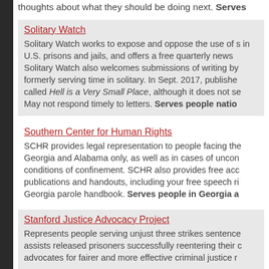thoughts about what they should be doing next. Serves
Solitary Watch
Solitary Watch works to expose and oppose the use of s in U.S. prisons and jails, and offers a free quarterly news Solitary Watch also welcomes submissions of writing by formerly serving time in solitary. In Sept. 2017, publishe called Hell is a Very Small Place, although it does not se May not respond timely to letters. Serves people natio
Southern Center for Human Rights
SCHR provides legal representation to people facing the Georgia and Alabama only, as well as in cases of uncon conditions of confinement. SCHR also provides free acc publications and handouts, including your free speech ri Georgia parole handbook. Serves people in Georgia a
Stanford Justice Advocacy Project
Represents people serving unjust three strikes sentence assists released prisoners successfully reentering their c advocates for fairer and more effective criminal justice r